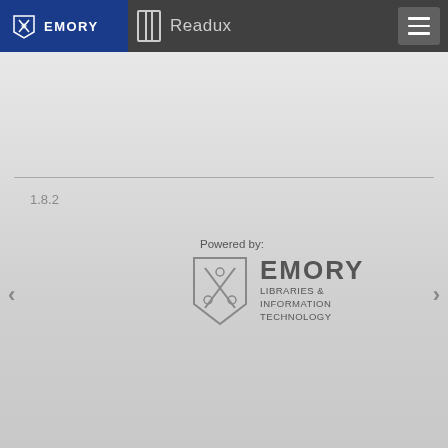EMORY  Readux
1.8.2
Powered by:
[Figure (logo): Emory Libraries & Information Technology logo with shield and text]